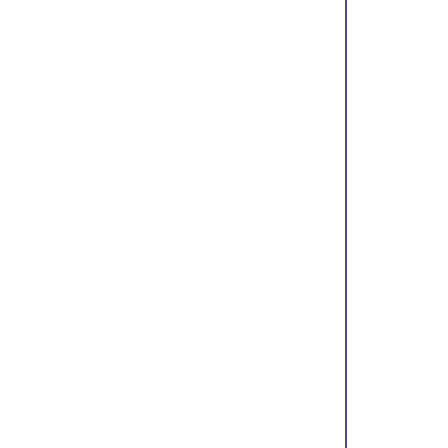(4) Delinquent property taxes on the property which Section 21-15, 21-20, or 21- including those delinquent ta Section 21-225 of the Proper loss.

    In determining delinquent Section, the amount of p certificate of error has been 10 or 14-20 of the Property T delinquent.

    (5) "Incurred demolition demolishing or removing a st the expense of a unit of loca or removal occurs on a date acceptance by the insurance an agreed amount of proceeds, the unit of local government the certificate required by estimated by the unit of loca request to execute the certif or c. the amount ordered to b days after a unit of local go execution of the certificate unit of local government must

    Incurred demolition expen subparagraph a. whenever p incurred demolition expense u of local government shall mak certificate within 30 days execution. If the unit of loc